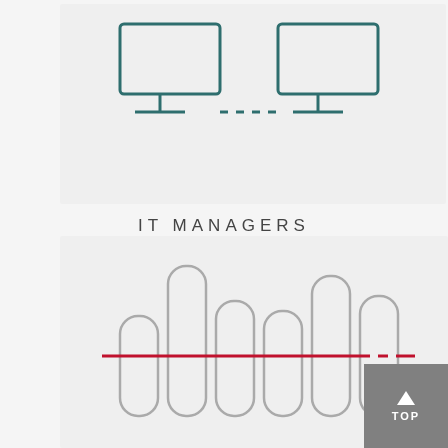[Figure (illustration): Top section showing a partial icon of two monitor/computer screens connected by a dashed line, rendered in teal/dark cyan outline style on a light gray background]
IT MANAGERS
[Figure (illustration): Bar chart icon illustration: 6 rounded rectangle bars of varying heights in gray outline style on light gray background, with a horizontal red dashed line crossing through the middle of the bars]